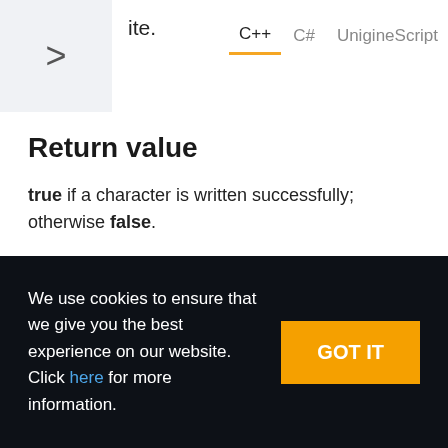ite.
Return value
true if a character is written successfully; otherwise false.
bool write ( bool value ) const
We use cookies to ensure that we give you the best experience on our website. Click here for more information.